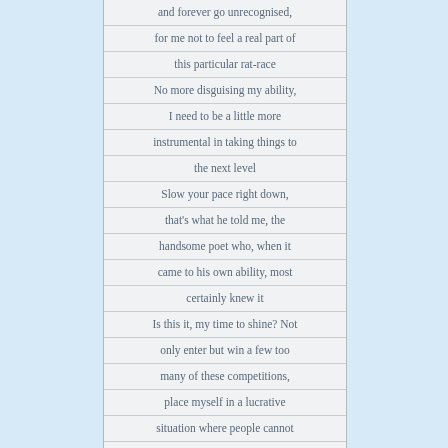and forever go unrecognised,
for me not to feel a real part of
this particular rat-race
No more disguising my ability,
I need to be a little more
instrumental in taking things to
the next level
Slow your pace right down,
that's what he told me, the
handsome poet who, when it
came to his own ability, most
certainly knew it
Is this it, my time to shine? Not
only enter but win a few too
many of these competitions,
place myself in a lucrative
situation where people cannot